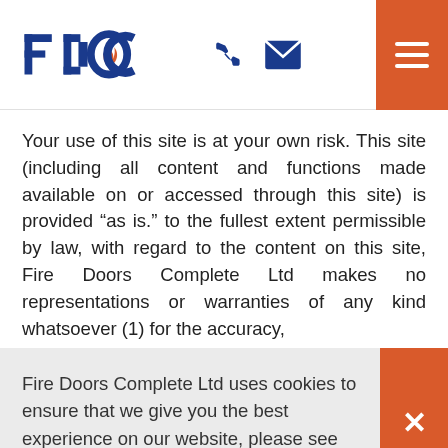[Figure (logo): FDC logo in blue with flame icon]
Your use of this site is at your own risk. This site (including all content and functions made available on or accessed through this site) is provided “as is.” to the fullest extent permissible by law, with regard to the content on this site, Fire Doors Complete Ltd makes no representations or warranties of any kind whatsoever (1) for the accuracy,
Fire Doors Complete Ltd uses cookies to ensure that we give you the best experience on our website, please see our cookie policy for more information.